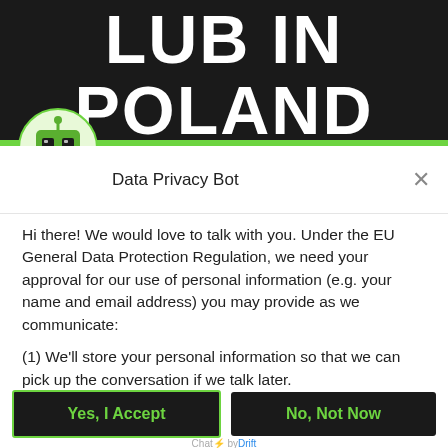[Figure (screenshot): Dark background header area with large white bold text reading 'LUB IN POLAND' (partially visible, cropped at top)]
[Figure (illustration): Green circle robot icon/avatar for Data Privacy Bot chatbot]
Data Privacy Bot
Hi there! We would love to talk with you. Under the EU General Data Protection Regulation, we need your approval for our use of personal information (e.g. your name and email address) you may provide as we communicate:
(1) We'll store your personal information so that we can pick up the conversation if we talk later.
(2) We may send you emails to follow up on our discussion here.
(3) We may send you emails about our upcoming services and promotions.
Yes, I Accept
No, Not Now
Chat ⚡ by Drift